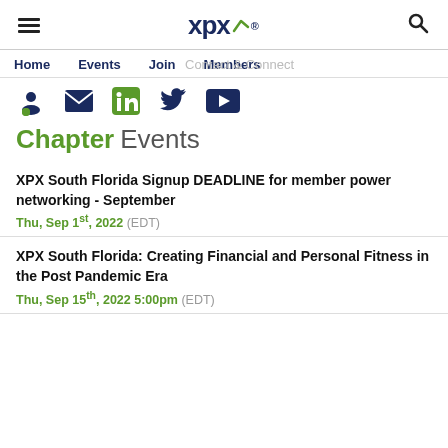XPX (logo) navigation header
Home   Events   Join   Members   Contact & Connect
[Figure (other): Social media icons: person/login, email, LinkedIn, Twitter, YouTube]
Chapter Events
XPX South Florida Signup DEADLINE for member power networking - September
Thu, Sep 1st, 2022 (EDT)
XPX South Florida: Creating Financial and Personal Fitness in the Post Pandemic Era
Thu, Sep 15th, 2022 5:00pm (EDT)